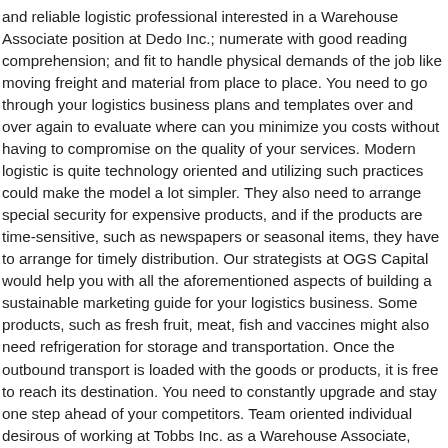and reliable logistic professional interested in a Warehouse Associate position at Dedo Inc.; numerate with good reading comprehension; and fit to handle physical demands of the job like moving freight and material from place to place. You need to go through your logistics business plans and templates over and over again to evaluate where can you minimize you costs without having to compromise on the quality of your services. Modern logistic is quite technology oriented and utilizing such practices could make the model a lot simpler. They also need to arrange special security for expensive products, and if the products are time-sensitive, such as newspapers or seasonal items, they have to arrange for timely distribution. Our strategists at OGS Capital would help you with all the aforementioned aspects of building a sustainable marketing guide for your logistics business. Some products, such as fresh fruit, meat, fish and vaccines might also need refrigeration for storage and transportation. Once the outbound transport is loaded with the goods or products, it is free to reach its destination. You need to constantly upgrade and stay one step ahead of your competitors. Team oriented individual desirous of working at Tobbs Inc. as a Warehouse Associate, bringing 4+ years of experience in inventory management, order processing and packaging/labeling of goods